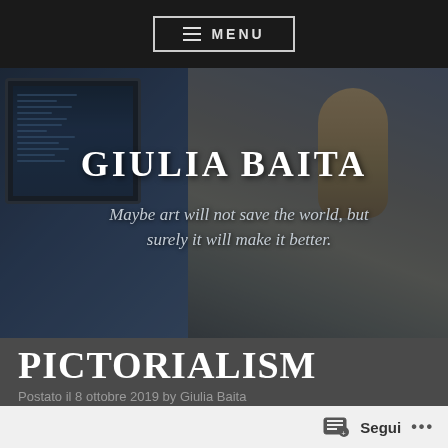≡ MENU
[Figure (photo): Hero banner with woman sitting at a computer with monitors showing code. Overlay text reads 'GIULIA BAITA' and 'Maybe art will not save the world, but surely it will make it better.']
GIULIA BAITA
Maybe art will not save the world, but surely it will make it better.
PICTORIALISM
Postato il 8 ottobre 2019 by Giulia Baita
“PICTORIALISM is the name given to an international
Segui ...